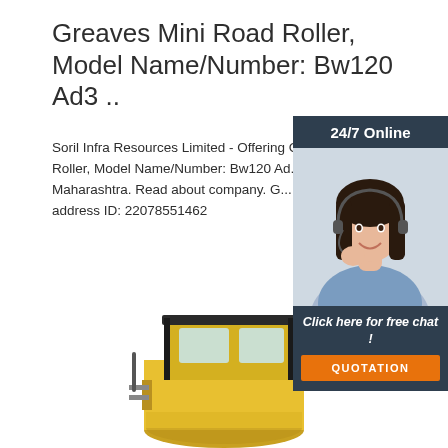Greaves Mini Road Roller, Model Name/Number: Bw120 Ad3 ..
Soril Infra Resources Limited - Offering Greaves Mini Road Roller, Model Name/Number: Bw120 Ad3 in Mumbai, Maharashtra. Read about company. Get contact details and address ID: 22078551462
Get Price
[Figure (photo): Customer service agent woman with headset, 24/7 Online banner above, Click here for free chat! text and QUOTATION button below, on dark blue background panel]
[Figure (photo): Greaves mini road roller / compactor machine, yellow and black, partial view showing cab and front drum, white background]